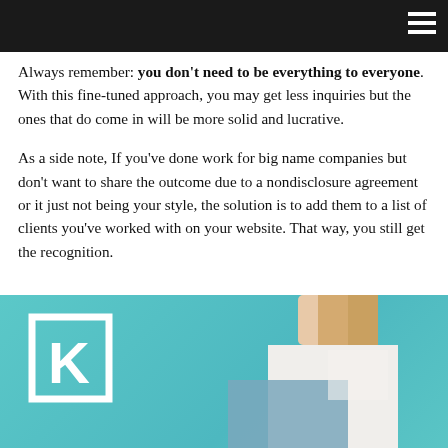Always remember: you don't need to be everything to everyone. With this fine-tuned approach, you may get less inquiries but the ones that do come in will be more solid and lucrative.
As a side note, If you've done work for big name companies but don't want to share the outcome due to a nondisclosure agreement or it just not being your style, the solution is to add them to a list of clients you've worked with on your website. That way, you still get the recognition.
[Figure (photo): Fashion model wearing a white and blue color-block outfit against a teal background, with a white square logo featuring the letter K on the left side of the image.]